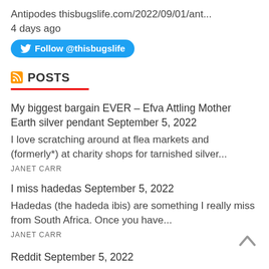Antipodes thisbugslife.com/2022/09/01/ant...
4 days ago
Follow @thisbugslife
POSTS
My biggest bargain EVER – Efva Attling Mother Earth silver pendant September 5, 2022
I love scratching around at flea markets and (formerly*) at charity shops for tarnished silver...
JANET CARR
I miss hadedas September 5, 2022
Hadedas (the hadeda ibis) are something I really miss from South Africa. Once you have...
JANET CARR
Reddit September 5, 2022